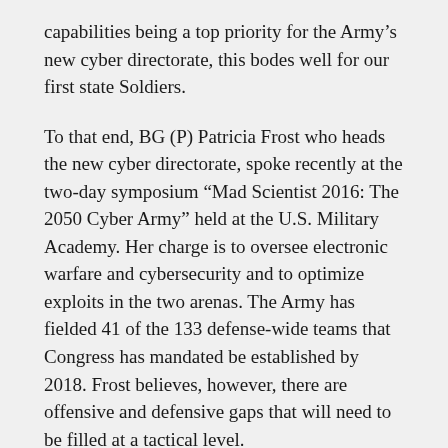capabilities being a top priority for the Army's new cyber directorate, this bodes well for our first state Soldiers.
To that end, BG (P) Patricia Frost who heads the new cyber directorate, spoke recently at the two-day symposium “Mad Scientist 2016: The 2050 Cyber Army” held at the U.S. Military Academy. Her charge is to oversee electronic warfare and cybersecurity and to optimize exploits in the two arenas. The Army has fielded 41 of the 133 defense-wide teams that Congress has mandated be established by 2018. Frost believes, however, there are offensive and defensive gaps that will need to be filled at a tactical level.